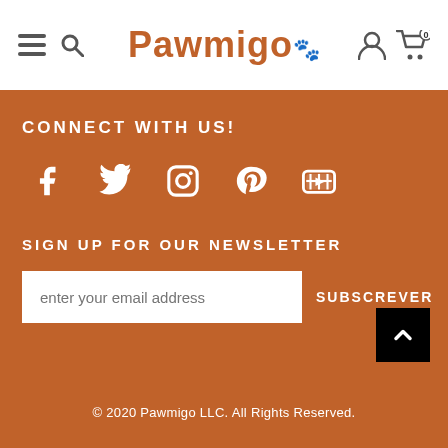Pawmigo
CONNECT WITH US!
[Figure (illustration): Social media icons: Facebook, Twitter, Instagram, Pinterest, YouTube]
SIGN UP FOR OUR NEWSLETTER
enter your email address
SUBSCREVER
© 2020 Pawmigo LLC. All Rights Reserved.